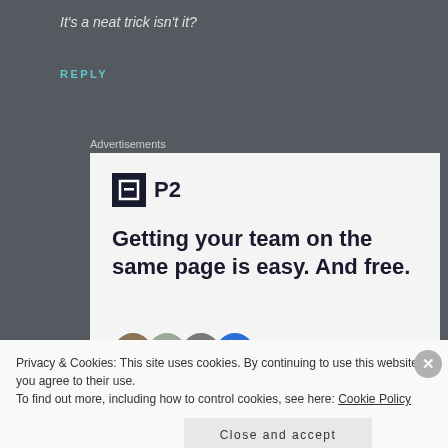It's a neat trick isn't it?
REPLY
Advertisements
[Figure (screenshot): Advertisement for P2 with logo and headline: Getting your team on the same page is easy. And free. With avatar images at bottom.]
Privacy & Cookies: This site uses cookies. By continuing to use this website, you agree to their use. To find out more, including how to control cookies, see here: Cookie Policy
Close and accept